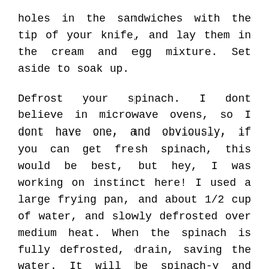holes in the sandwiches with the tip of your knife, and lay them in the cream and egg mixture. Set aside to soak up.
Defrost your spinach. I dont believe in microwave ovens, so I dont have one, and obviously, if you can get fresh spinach, this would be best, but hey, I was working on instinct here! I used a large frying pan, and about 1/2 cup of water, and slowly defrosted over medium heat. When the spinach is fully defrosted, drain, saving the water. It will be spinach-y and delicious.
Use a little bit of butter and olive oil in the same pan, and over low heat slowly soften the onions and garlic. Season with oregano and salt and pepper. Once the onions and garlic are glossy, add the spinach, just to heat through.
Butter or spray olive oil in a large cake tin. Using your